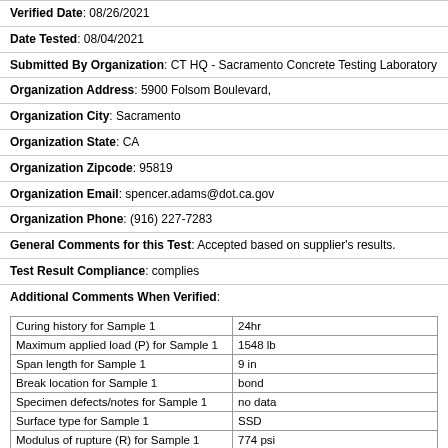Verified Date: 08/26/2021
Date Tested: 08/04/2021
Submitted By Organization: CT HQ - Sacramento Concrete Testing Laboratory
Organization Address: 5900 Folsom Boulevard,
Organization City: Sacramento
Organization State: CA
Organization Zipcode: 95819
Organization Email: spencer.adams@dot.ca.gov
Organization Phone: (916) 227-7283
General Comments for this Test: Accepted based on supplier's results.
Test Result Compliance: complies
Additional Comments When Verified:
|  |  |
| --- | --- |
| Curing history for Sample 1 | 24hr |
| Maximum applied load (P) for Sample 1 | 1548 lb |
| Span length for Sample 1 | 9 in |
| Break location for Sample 1 | bond |
| Specimen defects/notes for Sample 1 | no data |
| Surface type for Sample 1 | SSD |
| Modulus of rupture (R) for Sample 1 | 774 psi |
| Curing history for Sample 2 | 24hr |
| Maximum applied load (P) for Sample 2 | 1532 lb |